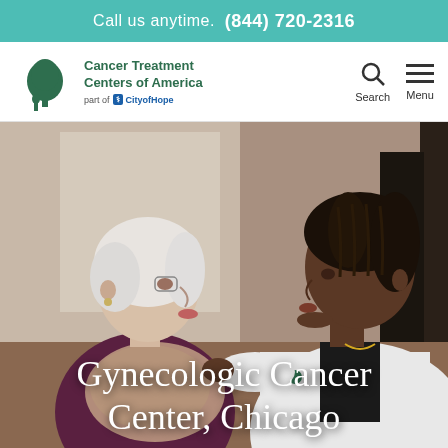Call us anytime. (844) 720-2316
[Figure (logo): Cancer Treatment Centers of America logo with tree illustration and 'part of City of Hope' tagline, plus Search and Menu navigation icons]
[Figure (photo): A doctor in a white coat examines or consults with an elderly woman with white hair and glasses; indoor medical setting]
Gynecologic Cancer Center, Chicago